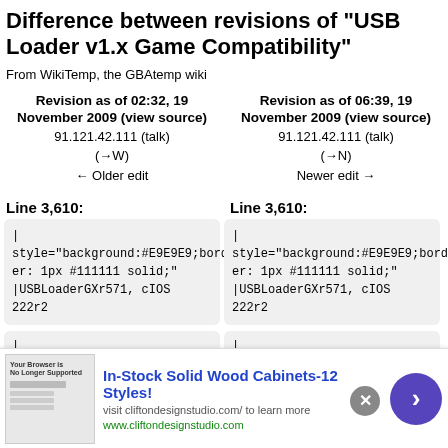Difference between revisions of "USB Loader v1.x Game Compatibility"
From WikiTemp, the GBAtemp wiki
| Left Revision | Right Revision |
| --- | --- |
| Revision as of 02:32, 19 November 2009 (view source)
91.121.42.111 (talk)
(→W)
← Older edit | Revision as of 06:39, 19 November 2009 (view source)
91.121.42.111 (talk)
(→N)
Newer edit → |
Line 3,610:
Line 3,610:
|
style="background:#E9E9E9;border: 1px #111111 solid;"
|USBLoaderGXr571, cIOS 222r2
|
style="background:#E9E9E9;border: 1px #111111 solid;"
|USBLoaderGXr571, cIOS 222r2
[Figure (infographic): Advertisement banner for In-Stock Solid Wood Cabinets-12 Styles from cliftondesignstudio.com with close button and arrow button]